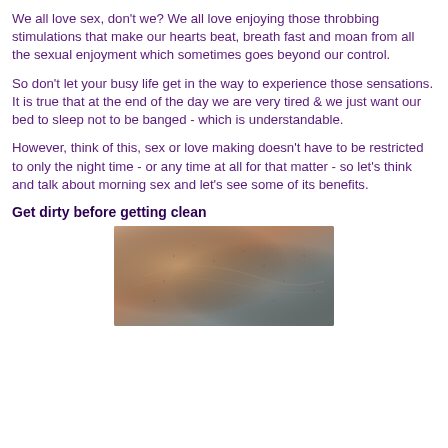We all love sex, don't we? We all love enjoying those throbbing stimulations that make our hearts beat, breath fast and moan from all the sexual enjoyment which sometimes goes beyond our control.
So don't let your busy life get in the way to experience those sensations. It is true that at the end of the day we are very tired & we just want our  bed to sleep not to be banged - which is understandable.
However, think of this, sex or love making doesn't have to be restricted to only the night time - or any time at all for that matter - so let's think and talk about morning sex and let's see some of its benefits.
Get dirty before getting clean
[Figure (photo): A blurry close-up photo showing wet or steamy skin texture, likely in a shower or bath setting.]